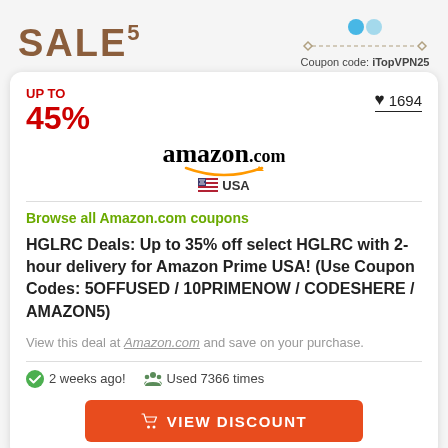[Figure (infographic): Top banner with SALE text in brown and coupon code box showing 'Coupon code: iTopVPN25']
UP TO
45%
♥ 1694
[Figure (logo): Amazon.com logo with smile and USA flag]
Browse all Amazon.com coupons
HGLRC Deals: Up to 35% off select HGLRC with 2-hour delivery for Amazon Prime USA! (Use Coupon Codes: 5OFFUSED / 10PRIMENOW / CODESHERE / AMAZON5)
View this deal at Amazon.com and save on your purchase.
✓ 2 weeks ago!   👥 Used 7366 times
VIEW DISCOUNT